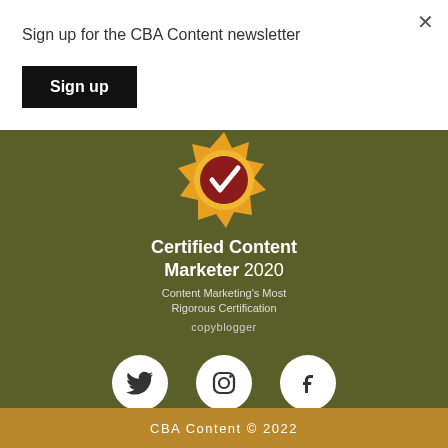×
Sign up for the CBA Content newsletter
Sign up
[Figure (illustration): Certified Content Marketer 2020 badge — a gold starburst with a red center containing a white checkmark. Text reads: Certified Content Marketer 2020, Content Marketing's Most Rigorous Certification, copyblogger.]
[Figure (illustration): Three white circular social media icons on olive/dark green background: Twitter bird, Instagram camera, Facebook f symbol.]
CBA Content © 2022